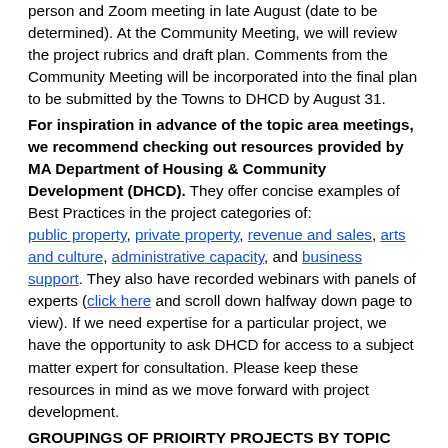person and Zoom meeting in late August (date to be determined). At the Community Meeting, we will review the project rubrics and draft plan. Comments from the Community Meeting will be incorporated into the final plan to be submitted by the Towns to DHCD by August 31.
For inspiration in advance of the topic area meetings, we recommend checking out resources provided by MA Department of Housing & Community Development (DHCD). They offer concise examples of Best Practices in the project categories of: public property, private property, revenue and sales, arts and culture, administrative capacity, and business support. They also have recorded webinars with panels of experts (click here and scroll down halfway down page to view). If we need expertise for a particular project, we have the opportunity to ask DHCD for access to a subject matter expert for consultation. Please keep these resources in mind as we move forward with project development.
GROUPINGS OF PRIOIRTY PROJECTS BY TOPIC